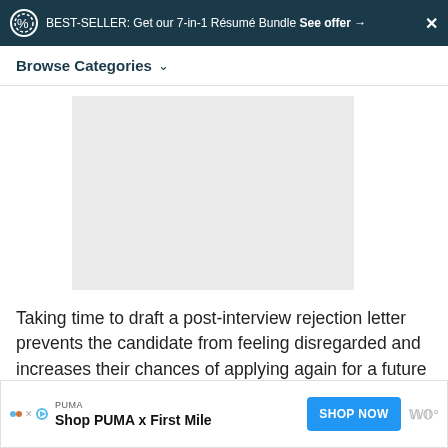BEST-SELLER: Get our 7-in-1 Résumé Bundle See offer →  ✕
Browse Categories
[Figure (other): Gray image placeholder area]
Taking time to draft a post-interview rejection letter prevents the candidate from feeling disregarded and increases their chances of applying again for a future position.
[Figure (infographic): Advertisement banner: PUMA - Shop PUMA x First Mile, with SHOP NOW button]